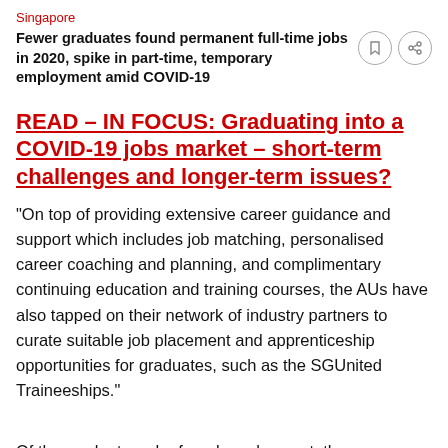Singapore
Fewer graduates found permanent full-time jobs in 2020, spike in part-time, temporary employment amid COVID-19
READ – IN FOCUS: Graduating into a COVID-19 jobs market – short-term challenges and longer-term issues?
“On top of providing extensive career guidance and support which includes job matching, personalised career coaching and planning, and complimentary continuing education and training courses, the AUs have also tapped on their network of industry partners to curate suitable job placement and apprenticeship opportunities for graduates, such as the SGUnited Traineeships.”
Of the graduates who found employment, the percentage of those in part-time or temporary jobs